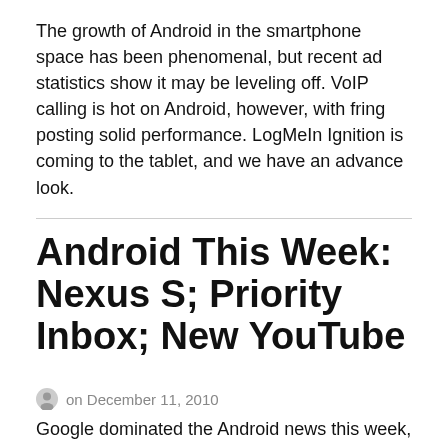The growth of Android in the smartphone space has been phenomenal, but recent ad statistics show it may be leveling off. VoIP calling is hot on Android, however, with fring posting solid performance. LogMeIn Ignition is coming to the tablet, and we have an advance look.
Android This Week: Nexus S; Priority Inbox; New YouTube
on December 11, 2010
Google dominated the Android news this week, as the company announced a number of products and updates